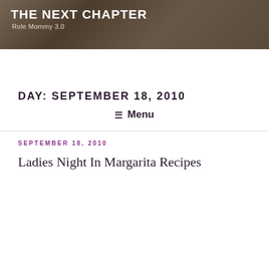THE NEXT CHAPTER
Role Mommy 3.0
☰ Menu
DAY: SEPTEMBER 18, 2010
SEPTEMBER 18, 2010
Ladies Night In Margarita Recipes